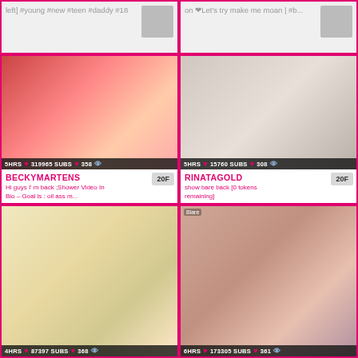[Figure (screenshot): Top left partial card with text about #young #new #teen #daddy #18]
[Figure (screenshot): Top right partial card with text about Let's try make me moan | #b...]
[Figure (photo): BECKYMARTENS stream thumbnail, 5HRS, 319965 SUBS, 358 views, 20F, Hi guys I'm back ;Shower Video In Bio – Goal is : oil ass m...]
[Figure (photo): RINATAGOLD stream thumbnail, 5HRS, 15760 SUBS, 308 views, 20F, show bare back [0 tokens remaining]]
[Figure (photo): Bottom left stream thumbnail, 4HRS, 87397 SUBS, 368 views]
[Figure (photo): Bottom right stream thumbnail, 6HRS, 173305 SUBS, 361 views, Blare label visible]